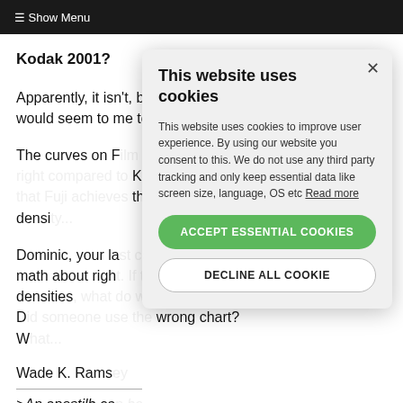≡ Show Menu
Kodak 2001?
Apparently, it isn't, but the charts would seem to me to indicate it.
The curves on F[...] Kodak, indicatin[...] the same densi[...]
Dominic, your la[...] math about righ[...] same densities [...] make of this? D[...] wrong chart? W[...]
Wade K. Rams[...]
>An apostilb ca[...]
[Figure (other): Cookie consent modal dialog with title 'This website uses cookies', body text explaining cookie usage with a Read more link, an ACCEPT ESSENTIAL COOKIES green button, and a DECLINE ALL COOKIE outlined button, with an X close button in the top right.]